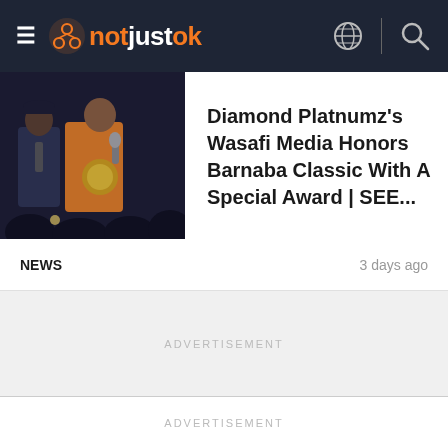notjustok
[Figure (photo): Two people on stage at a music/award event; one in a suit, one in an orange jacket holding a gold award plaque, with audience members in the foreground taking photos.]
Diamond Platnumz's Wasafi Media Honors Barnaba Classic With A Special Award | SEE...
NEWS    3 days ago
ADVERTISEMENT
ADVERTISEMENT